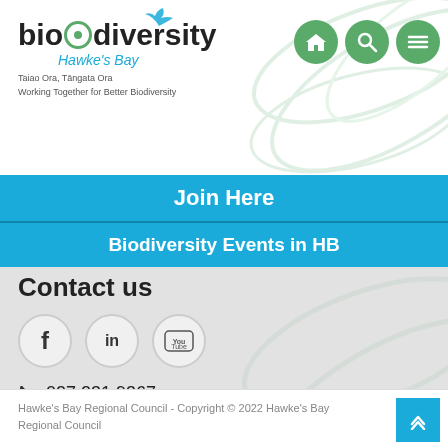[Figure (logo): Biodiversity Hawke's Bay logo with bird, circular leaf icon, and tagline 'Taiao Ora, Tāngata Ora / Working Together for Better Biodiversity']
[Figure (infographic): Three green circular navigation icons: home, search, and menu (hamburger)]
Join Here
Biodiversity Events in HB
Contact us
[Figure (infographic): Three social media icons: Facebook (f), LinkedIn (in), YouTube]
027 231 9367
info@biodiversityhb.nz
PO Box 246, Napier 4140
Hawke's Bay Regional Council - Copyright © 2022 Hawke's Bay Regional Council